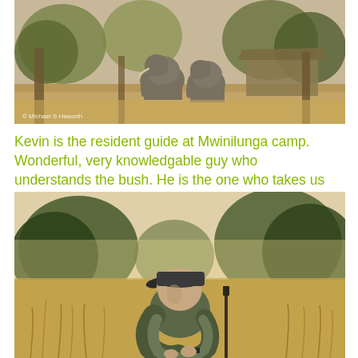[Figure (photo): Outdoor safari camp scene with two elephants visible between trees, with a tent structure in the background. Dry savanna landscape. Photo credit: Michael S Haworth.]
Kevin is the resident guide at Mwinilunga camp. Wonderful, very knowledgable guy who understands the bush. He is the one who takes us for walks with elephants, lions and wild dogs.
[Figure (photo): A man wearing a dark cap and grey shirt sits in dry grassland with trees and hazy sky in the background. Safari/bush guide setting.]